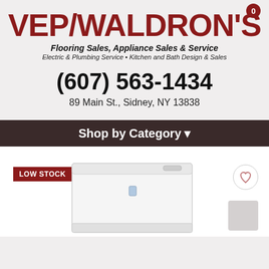VEP/WALDRON'S
Flooring Sales, Appliance Sales & Service
Electric & Plumbing Service • Kitchen and Bath Design & Sales
(607) 563-1434
89 Main St., Sidney, NY 13838
Shop by Category ▾
LOW STOCK
[Figure (photo): White chest freezer appliance product photo]